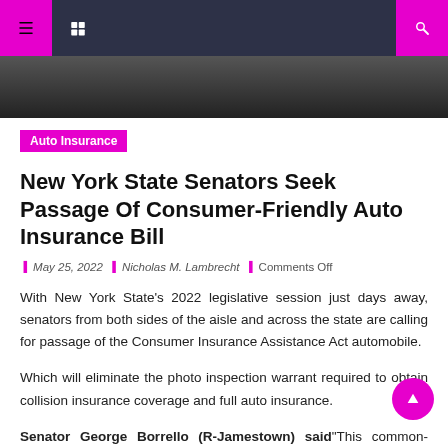Auto Insurance
New York State Senators Seek Passage Of Consumer-Friendly Auto Insurance Bill
May 25, 2022 | Nicholas M. Lambrecht | Comments Off
With New York State's 2022 legislative session just days away, senators from both sides of the aisle and across the state are calling for passage of the Consumer Insurance Assistance Act automobile.
Which will eliminate the photo inspection warrant required to obtain collision insurance coverage and full auto insurance.
Senator George Borrello (R-Jamestown) said "This common-sense legislation is essential to protect motorists from unknowingly losing coverage in the event of a motor vehicle